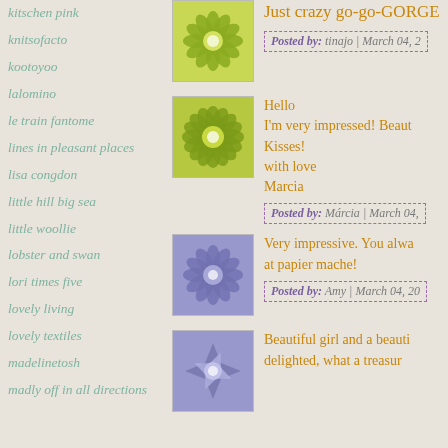kitschen pink
knitsofacto
kootoyoo
lalomino
le train fantome
lines in pleasant places
lisa congdon
little hill big sea
little woollie
lobster and swan
lori times five
lovely living
lovely textiles
madelinetosh
madly off in all directions
Just crazy go-go-GORGE
Posted by: tinajo | March 04, 2
Hello
I'm very impressed! Beaut
Kisses!
with love
Marcia
Posted by: Márcia | March 04,
Very impressive. You alwa at papier mache!
Posted by: Amy | March 04, 20
Beautiful girl and a beauti delighted, what a treasur